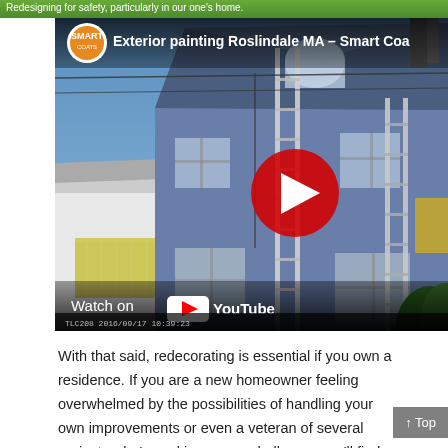Redesigning for safety, particularly in our one's home.
[Figure (screenshot): YouTube video thumbnail showing exterior painting of a house in Roslindale MA by Smart Coats. A multi-story blue house with ladders leaning against it is shown. A red YouTube play button is visible in the center. The bottom shows 'Watch on YouTube'. Timestamp reads TLC208 2016/09/17 10:39:23.]
With that said, redecorating is essential if you own a residence. If you are a new homeowner feeling overwhelmed by the possibilities of handling your own improvements or even a veteran of several projects who's seeking a new challenge, you'll find some useful